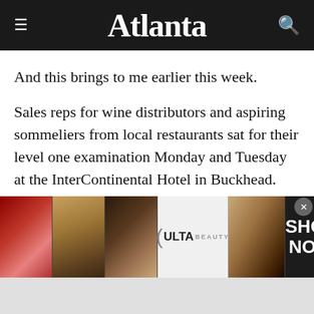Atlanta
And this brings to me earlier this week.
Sales reps for wine distributors and aspiring sommeliers from local restaurants sat for their level one examination Monday and Tuesday at the InterContinental Hotel in Buckhead. Prior to the exam, several master sommeliers conducted an intensive overview of key material.
[Figure (photo): Advertisement banner for ULTA Beauty featuring beauty/makeup images and 'SHOP NOW' text]